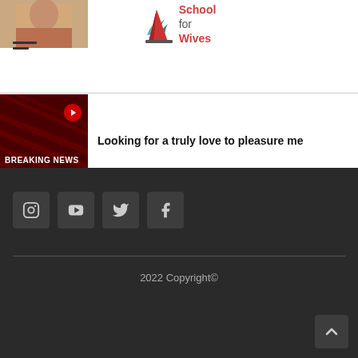[Figure (photo): Thumbnail of a person (partially visible) on left side of header]
[Figure (logo): School for Wives logo with teal shark fin icon and red/grey text]
[Figure (photo): Breaking News thumbnail with dark red background and white BREAKING NEWS text]
Looking for a truly love to pleasure me
[Figure (infographic): Social media icon buttons: Instagram, YouTube, Twitter, Facebook]
2022 Copyright©